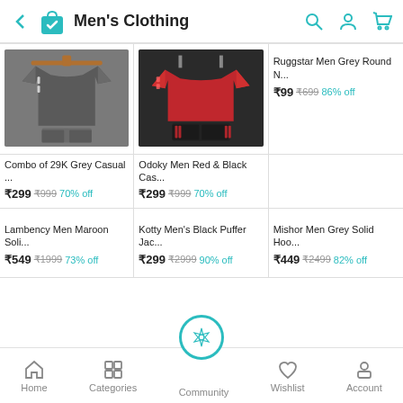Men's Clothing
[Figure (photo): Grey casual t-shirt and shorts set on hangers]
Combo of 29K Grey Casual ...
₹299 ₹999 70% off
[Figure (photo): Red and black casual t-shirt and shorts set]
Odoky Men Red & Black Cas...
₹299 ₹999 70% off
Ruggstar Men Grey Round N...
₹99 ₹699 86% off
Lambency Men Maroon Soli...
₹549 ₹1999 73% off
Kotty Men's Black Puffer Jac...
₹299 ₹2999 90% off
Mishor Men Grey Solid Hoo...
₹449 ₹2499 82% off
Home  Categories  Community  Wishlist  Account